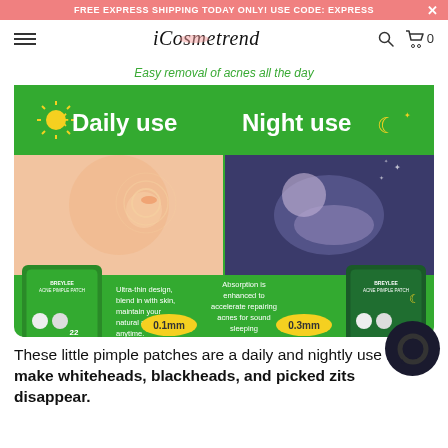FREE EXPRESS SHIPPING TODAY ONLY! USE CODE: EXPRESS
[Figure (screenshot): iCosmetrend website navigation bar with hamburger menu, logo, search icon and cart icon showing 0 items]
[Figure (infographic): Product infographic for acne pimple patches showing daily use (0.1mm ultra-thin) and night use (0.3mm enhanced absorption) with product packaging images and lifestyle photos]
These little pimple patches are a daily and nightly use fixer to make whiteheads, blackheads, and picked zits disappear.